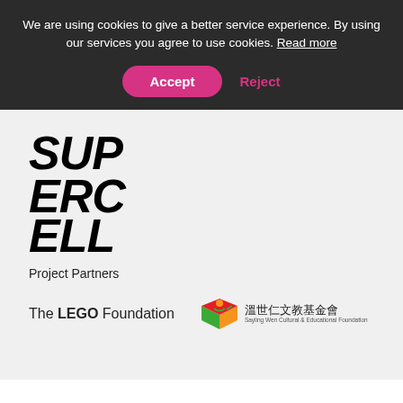We are using cookies to give a better service experience. By using our services you agree to use cookies. Read more
Accept
Reject
[Figure (logo): Supercell logo in large bold italic black text stacked as SUP / ERC / ELL]
Project Partners
[Figure (logo): The LEGO Foundation logo in black text with LEGO in bold]
[Figure (logo): Guying Wen Cultural & Educational Foundation logo with colorful book/person icon and Chinese and English text]